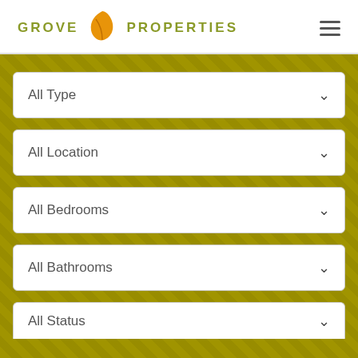GROVE PROPERTIES
All Type
All Location
All Bedrooms
All Bathrooms
All Status